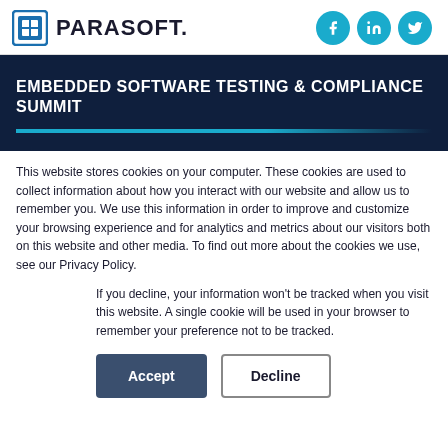[Figure (logo): Parasoft logo with icon and text PARASOFT. with social media icons (Facebook, LinkedIn, Twitter) on the right]
EMBEDDED SOFTWARE TESTING & COMPLIANCE SUMMIT
This website stores cookies on your computer. These cookies are used to collect information about how you interact with our website and allow us to remember you. We use this information in order to improve and customize your browsing experience and for analytics and metrics about our visitors both on this website and other media. To find out more about the cookies we use, see our Privacy Policy.
If you decline, your information won't be tracked when you visit this website. A single cookie will be used in your browser to remember your preference not to be tracked.